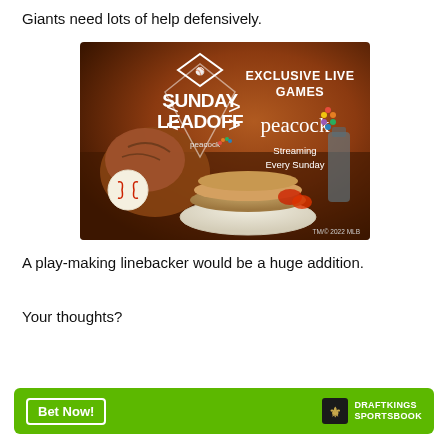Giants need lots of help defensively.
[Figure (photo): MLB Sunday Leadoff advertisement featuring a breakfast scene with pancakes, a baseball glove, and a baseball. Text reads 'SUNDAY LEADOFF peacock' and 'EXCLUSIVE LIVE GAMES peacock Streaming Every Sunday'. TM/© 2022 MLB.]
A play-making linebacker would be a huge addition.
Your thoughts?
[Figure (logo): DraftKings Sportsbook advertisement bar with 'Bet Now!' button and DraftKings Sportsbook logo on green background.]